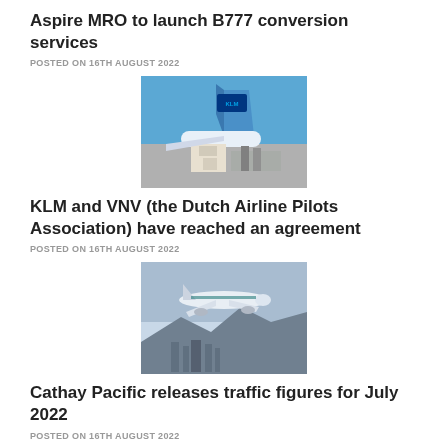Aspire MRO to launch B777 conversion services
POSTED ON 16TH AUGUST 2022
[Figure (photo): KLM cargo aircraft tail with KLM logo visible, cargo being loaded on tarmac]
KLM and VNV (the Dutch Airline Pilots Association) have reached an agreement
POSTED ON 16TH AUGUST 2022
[Figure (photo): Cathay Pacific airplane flying in sky above city and mountains]
Cathay Pacific releases traffic figures for July 2022
POSTED ON 16TH AUGUST 2022
[Figure (photo): Green cranes at a port or construction site against blue sky]